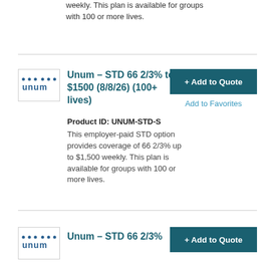weekly. This plan is available for groups with 100 or more lives.
Unum – STD 66 2/3% to $1500 (8/8/26) (100+ lives)
+ Add to Quote
Add to Favorites
Product ID: UNUM-STD-S
This employer-paid STD option provides coverage of 66 2/3% up to $1,500 weekly. This plan is available for groups with 100 or more lives.
Unum – STD 66 2/3%